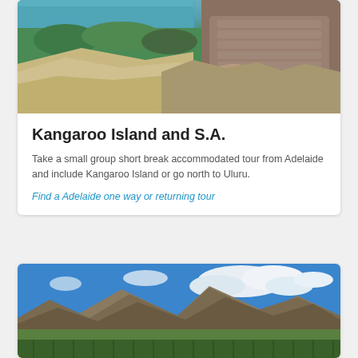[Figure (photo): Person in puffer jacket sitting on rocky cliffs overlooking turquoise water and green scrubland — Kangaroo Island coastal scene]
Kangaroo Island and S.A.
Take a small group short break accommodated tour from Adelaide and include Kangaroo Island or go north to Uluru.
Find a Adelaide one way or returning tour
[Figure (photo): Panoramic vineyard landscape with mountain in background under blue sky with white clouds — South Australia wine region]